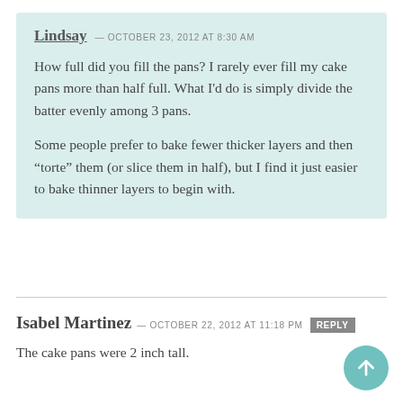Lindsay — OCTOBER 23, 2012 at 8:30 AM
How full did you fill the pans? I rarely ever fill my cake pans more than half full. What I'd do is simply divide the batter evenly among 3 pans.
Some people prefer to bake fewer thicker layers and then “torte” them (or slice them in half), but I find it just easier to bake thinner layers to begin with.
Isabel Martinez — OCTOBER 22, 2012 at 11:18 PM REPLY
The cake pans were 2 inch tall.